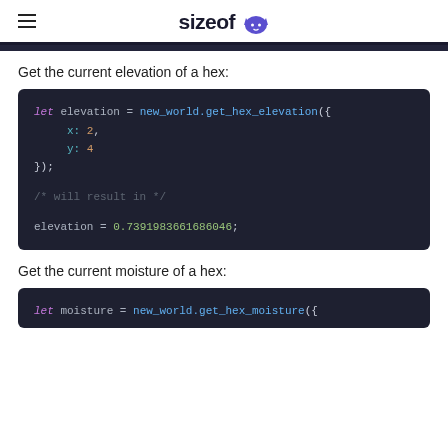sizeof
Get the current elevation of a hex:
[Figure (screenshot): Dark-themed code block showing: let elevation = new_world.get_hex_elevation({ x: 2, y: 4 }); /* will result in */ elevation = 0.7391983661686046;]
Get the current moisture of a hex:
[Figure (screenshot): Dark-themed code block showing: let moisture = new_world.get_hex_moisture({]